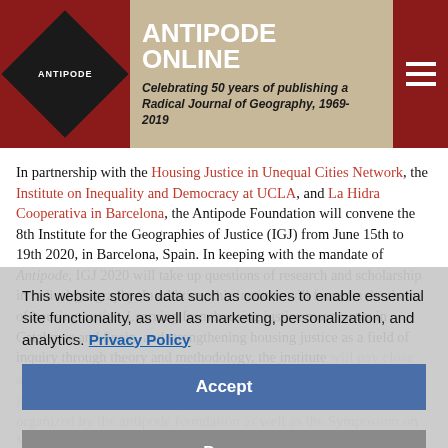ANTIPODE ONLINE – Celebrating 50 years of publishing a Radical Journal of Geography, 1969-2019
In partnership with the Housing Justice in Unequal Cities Network, the Institute on Inequality and Democracy at UCLA, and La Hidra Cooperativa in Barcelona, the Antipode Foundation will convene the 8th Institute for the Geographies of Justice (IGJ) from June 15th to 19th 2020, in Barcelona, Spain. In keeping with the mandate of Antipode, IGJ 2020 will take up questions of research and scholarship in radical geography. In addition, this institute will focus on the theme of housing justice. Learning from housing justice movements in Catalunya and Spain, and strengthening housing justice as a field of inquiry through theory and methodology, the institute will pay close attention to the relationship between radical geography and social justice struggles. IGJ 2020 builds on the previous institutes organized by the antipode foundation as well as the Symposium on Methodologies for Housing Justice organized by the Institute on Inequality and Democracy at UCLA in 2019. Taking the form of an interactive workshop with 20-25 participants, it is meant to be a space of learning, collaboration, and dialogue for doctoral students and early career researchers in geography and related disciplines.
This website stores data such as cookies to enable essential site functionality, as well as marketing, personalization, and analytics. Privacy Policy
Accept
Deny